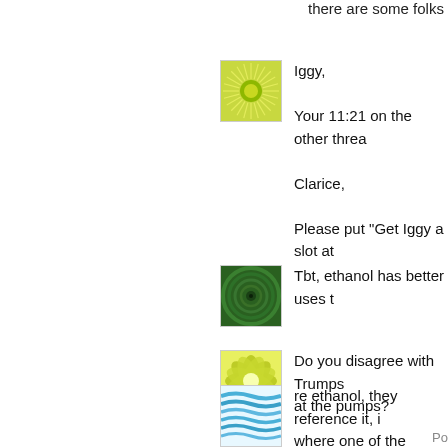there are some folks as obse
[Figure (illustration): Green sunburst avatar icon with yellow-green center circle and radiating lines]
Iggy,

Your 11:21 on the other threa

Clarice,

Please put "Get Iggy a slot at
[Figure (illustration): Dark green spiral pattern avatar icon]
Tbt, ethanol has better uses t
[Figure (illustration): Yellow-green flower petal pattern avatar icon]
Do you disagree with Trumps at the pumps?
Po
[Figure (illustration): Blue wavy lines avatar icon]
re ethanol, they reference it, i where one of the characters c